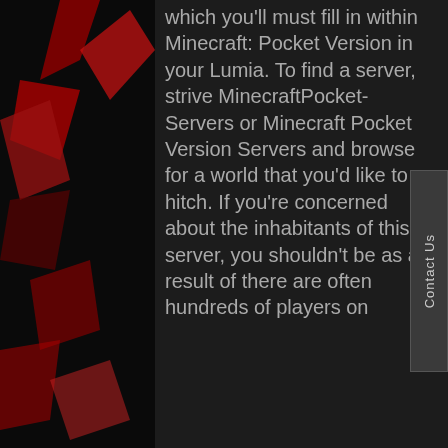[Figure (illustration): Dark background with red geometric/abstract shapes visible on the left side and bottom-right corner (teal accent), with a dark center panel containing text.]
which you'll must fill in within Minecraft: Pocket Version in your Lumia. To find a server, strive MinecraftPocket-Servers or Minecraft Pocket Version Servers and browse for a world that you'd like to hitch. If you're concerned about the inhabitants of this server, you shouldn't be as a result of there are often hundreds of players on